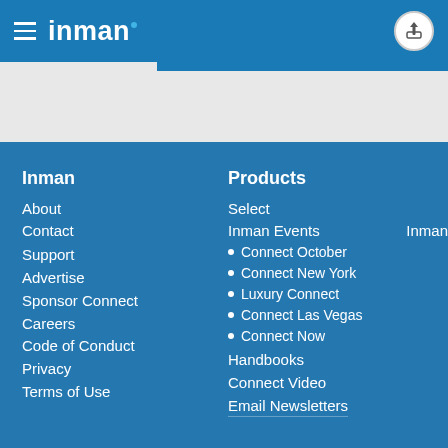inman
Inman
About
Contact
Support
Advertise
Sponsor Connect
Careers
Code of Conduct
Privacy
Terms of Use
Products
Select
Inman Events   Inman
Connect October
Connect New York
Luxury Connect
Connect Las Vegas
Connect Now
Handbooks
Connect Video
Email Newsletters